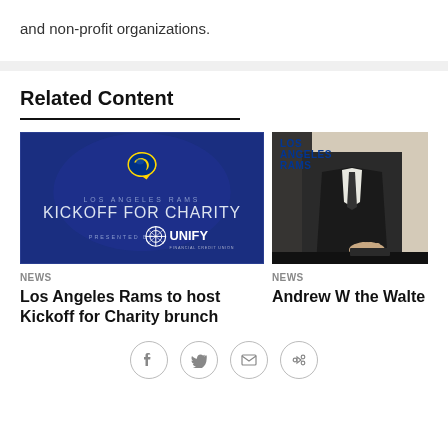and non-profit organizations.
Related Content
[Figure (photo): Los Angeles Rams Kickoff for Charity presented by UNIFY Financial Credit Union — blue promotional banner with Rams logo and UNIFY logo]
NEWS
Los Angeles Rams to host Kickoff for Charity brunch
[Figure (photo): Photo of a person in a suit, partially visible, with Los Angeles Rams logo text in upper left corner]
NEWS
Andrew W the Walte